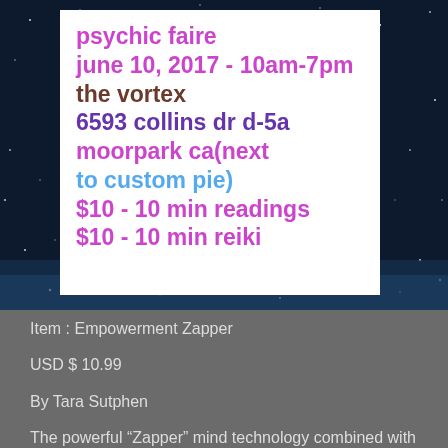[Figure (infographic): Event flyer on a starry night sky background with a white card containing event details in colored text.]
Item : Empowerment Zapper
USD $ 10.99
By Tara Sutphen
The powerful “Zapper” mind technology combined with